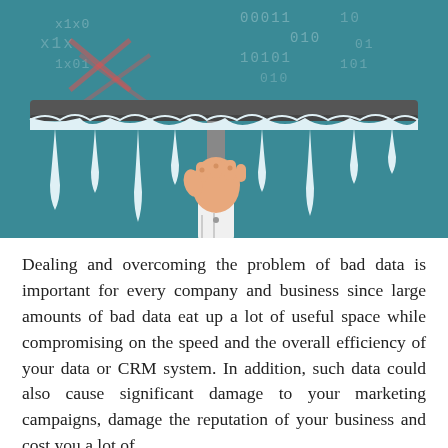[Figure (illustration): Illustration of a hand holding a squeegee/window scraper wiping away binary code (0s and 1s) and corrupted data (x symbols) from a teal background, with white dripping paint-like streaks falling downward, representing data cleaning.]
Dealing and overcoming the problem of bad data is important for every company and business since large amounts of bad data eat up a lot of useful space while compromising on the speed and the overall efficiency of your data or CRM system. In addition, such data could also cause significant damage to your marketing campaigns, damage the reputation of your business and cost you a lot of